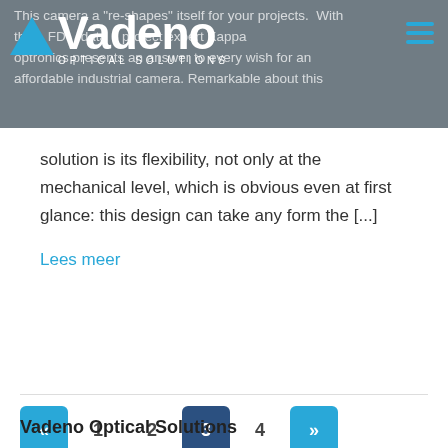Vadeno Optical Solutions — navigation header with logo
This camera "re-shapes" itself for your projects. With the FDCA data sheet, project expert Kappa optronics presents an answer to every wish for an affordable industrial camera. Remarkable about this solution is its flexibility, not only at the mechanical level, which is obvious even at first glance: this design can take any form the [...]
Lees meer
« 1 2 3 4 »
Vadeno Optical Solutions